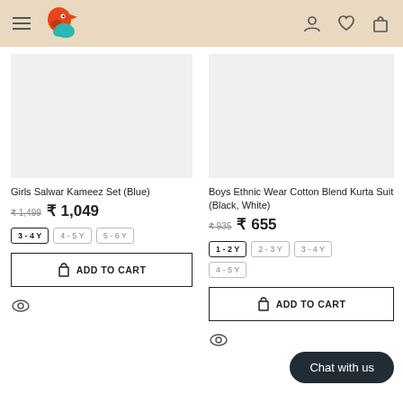[Figure (logo): Flipkart-style app header with hamburger menu, bird logo, and icons for user, wishlist, and cart]
Girls Salwar Kameez Set (Blue)
₹ 1,499  ₹ 1,049
3-4Y  4-5Y  5-6Y
ADD TO CART
Boys Ethnic Wear Cotton Blend Kurta Suit (Black, White)
₹ 935  ₹ 655
1-2Y  2-3Y  3-4Y  4-5Y
ADD TO CART
Chat with us